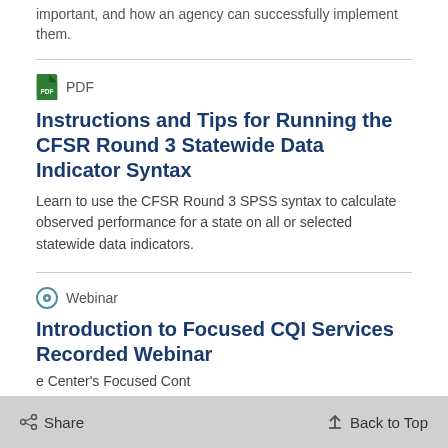important, and how an agency can successfully implement them.
PDF
Instructions and Tips for Running the CFSR Round 3 Statewide Data Indicator Syntax
Learn to use the CFSR Round 3 SPSS syntax to calculate observed performance for a state on all or selected statewide data indicators.
Webinar
Introduction to Focused CQI Services Recorded Webinar
e Center's Focused Cont
Share   Back to Top